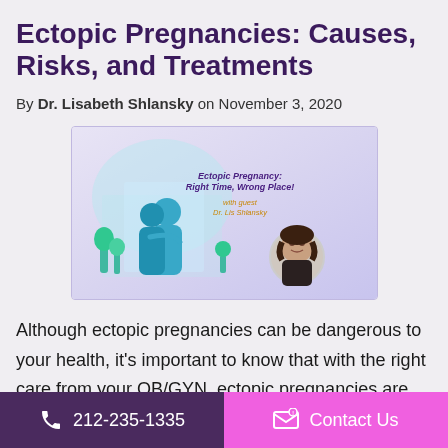Ectopic Pregnancies: Causes, Risks, and Treatments
By Dr. Lisabeth Shlansky on November 3, 2020
[Figure (illustration): Podcast thumbnail image titled 'Ectopic Pregnancy: Right Time, Wrong Place!' with guest Dr. Lis Shlansky. Shows an illustrated couple embracing and a circular photo of Dr. Shlansky on a purple/lavender gradient background.]
Although ectopic pregnancies can be dangerous to your health, it's important to know that with the right care from your OB/GYN, ectopic pregnancies are treatable. Here's what to know about them and
212-235-1335    Contact Us